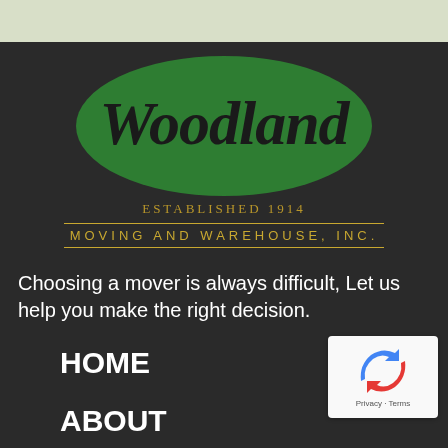[Figure (logo): Woodland Moving and Warehouse Inc. logo — green oval with 'Woodland' in black script, 'ESTABLISHED 1914' below in gold, 'MOVING AND WAREHOUSE, INC.' in gold spaced capitals with double-line border]
Choosing a mover is always difficult, Let us help you make the right decision.
HOME
ABOUT